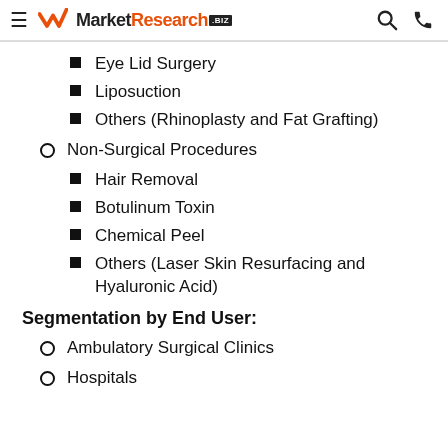MarketResearch.biz
Eye Lid Surgery
Liposuction
Others (Rhinoplasty and Fat Grafting)
Non-Surgical Procedures
Hair Removal
Botulinum Toxin
Chemical Peel
Others (Laser Skin Resurfacing and Hyaluronic Acid)
Segmentation by End User:
Ambulatory Surgical Clinics
Hospitals